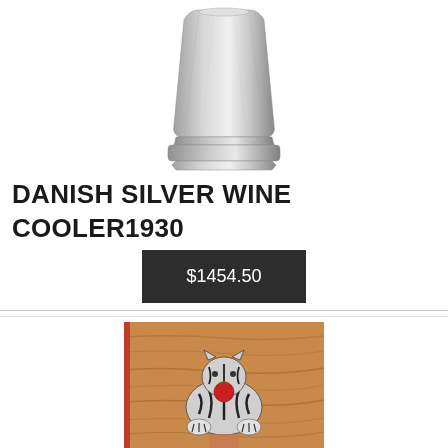[Figure (photo): A silver wine cooler with octagonal facets and a wide base, photographed on white background.]
DANISH SILVER WINE COOLER1930
$1454.50
[Figure (photo): Ceramic or pottery figurine of a cat with stripes and a red element, placed on a wooden surface.]